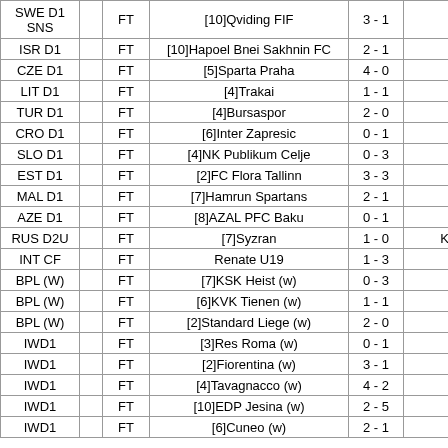| League |  | Status | Home Team | Score | Away Team |
| --- | --- | --- | --- | --- | --- |
| SWE D1 SNS |  | FT | [10]Qviding FIF | 3 - 1 | La... |
| ISR D1 |  | FT | [10]Hapoel Bnei Sakhnin FC | 2 - 1 | H... |
| CZE D1 |  | FT | [5]Sparta Praha | 4 - 0 | Ma... |
| LIT D1 |  | FT | [4]Trakai | 1 - 1 |  |
| TUR D1 |  | FT | [4]Bursaspor | 2 - 0 |  |
| CRO D1 |  | FT | [6]Inter Zapresic | 0 - 1 | Di... |
| SLO D1 |  | FT | [4]NK Publikum Celje | 0 - 3 | Kr... |
| EST D1 |  | FT | [2]FC Flora Tallinn | 3 - 3 | JK S... |
| MAL D1 |  | FT | [7]Hamrun Spartans | 2 - 1 | Pem... |
| AZE D1 |  | FT | [8]AZAL PFC Baku | 0 - 1 |  |
| RUS D2U |  | FT | [7]Syzran | 1 - 0 | KAMAZ N... |
| INT CF |  | FT | Renate U19 | 1 - 3 | US... |
| BPL (W) |  | FT | [7]KSK Heist (w) | 0 - 3 | A... |
| BPL (W) |  | FT | [6]KVK Tienen (w) | 1 - 1 | Oud He... |
| BPL (W) |  | FT | [2]Standard Liege (w) | 2 - 0 | KAA ... |
| IWD1 |  | FT | [3]Res Roma (w) | 0 - 1 |  |
| IWD1 |  | FT | [2]Fiorentina (w) | 3 - 1 | AGS... |
| IWD1 |  | FT | [4]Tavagnacco (w) | 4 - 2 | Sa... |
| IWD1 |  | FT | [10]EDP Jesina (w) | 2 - 5 | M... |
| IWD1 |  | FT | [6]Cuneo (w) | 2 - 1 | ASD... |